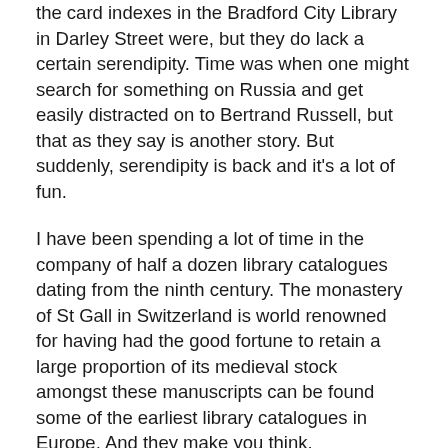the card indexes in the Bradford City Library in Darley Street were, but they do lack a certain serendipity. Time was when one might search for something on Russia and get easily distracted on to Bertrand Russell, but that as they say is another story. But suddenly, serendipity is back and it's a lot of fun.
I have been spending a lot of time in the company of half a dozen library catalogues dating from the ninth century. The monastery of St Gall in Switzerland is world renowned for having had the good fortune to retain a large proportion of its medieval stock amongst these manuscripts can be found some of the earliest library catalogues in Europe. And they make you think.
At this stage, they are making me think about librarians. The oldest and most comprehensive list has been heavily